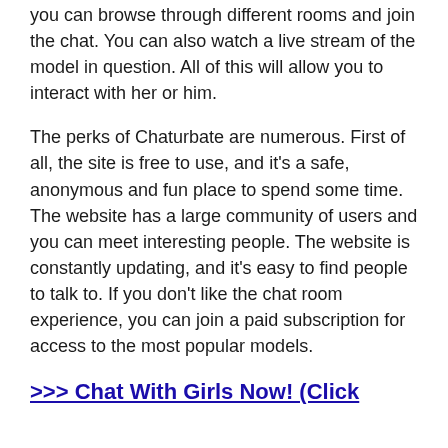you can browse through different rooms and join the chat. You can also watch a live stream of the model in question. All of this will allow you to interact with her or him.
The perks of Chaturbate are numerous. First of all, the site is free to use, and it's a safe, anonymous and fun place to spend some time. The website has a large community of users and you can meet interesting people. The website is constantly updating, and it's easy to find people to talk to. If you don't like the chat room experience, you can join a paid subscription for access to the most popular models.
>>> Chat With Girls Now! (Click